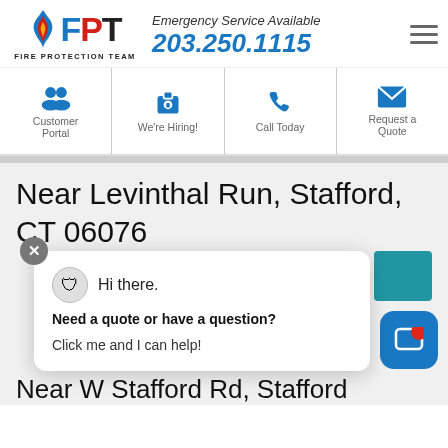[Figure (logo): Fire Protection Team (FPT) logo with flame icon and company name]
Emergency Service Available
203.250.1115
[Figure (infographic): Navigation icon bar: Customer Portal, We're Hiring!, Call Today, Request a Quote]
Near Levinthal Run, Stafford, CT 06076
[Figure (screenshot): Chat popup: Hi there. Need a quote or have a question? Click me and I can help!]
Near W Stafford Rd, Stafford